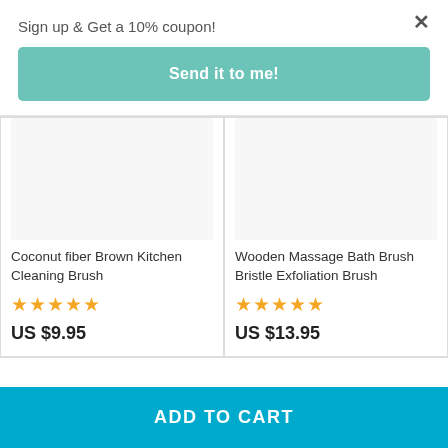Sign up & Get a 10% coupon!
Send it to me!
[Figure (photo): Product image placeholder for Coconut fiber Brown Kitchen Cleaning Brush]
Coconut fiber Brown Kitchen Cleaning Brush
★★★★★
US $9.95
[Figure (photo): Product image placeholder for Wooden Massage Bath Brush Bristle Exfoliation Brush]
Wooden Massage Bath Brush Bristle Exfoliation Brush
★★★★★
US $13.95
ADD TO CART